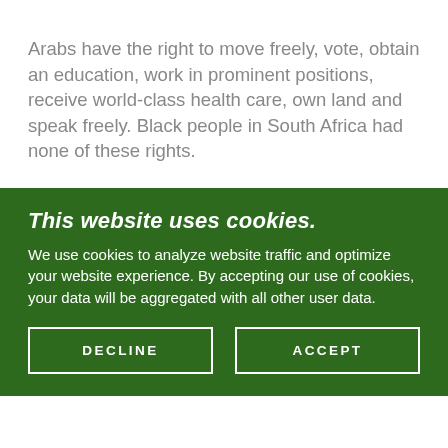Arabs have the right to move freely, vote, obtain an education, work in prominent positions, receive world-class health care, own land and speak freely. Black people in South Africa had none of these rights.
This website uses cookies.
We use cookies to analyze website traffic and optimize your website experience. By accepting our use of cookies, your data will be aggregated with all other user data.
DECLINE
ACCEPT